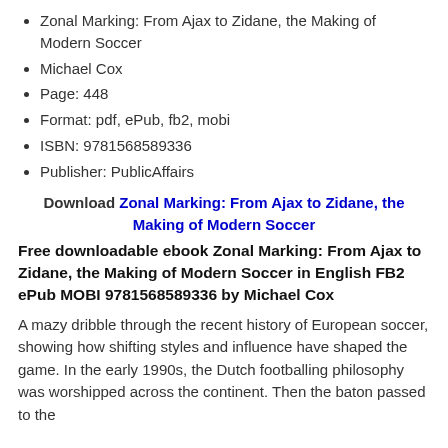Zonal Marking: From Ajax to Zidane, the Making of Modern Soccer
Michael Cox
Page: 448
Format: pdf, ePub, fb2, mobi
ISBN: 9781568589336
Publisher: PublicAffairs
Download Zonal Marking: From Ajax to Zidane, the Making of Modern Soccer
Free downloadable ebook Zonal Marking: From Ajax to Zidane, the Making of Modern Soccer in English FB2 ePub MOBI 9781568589336 by Michael Cox
A mazy dribble through the recent history of European soccer, showing how shifting styles and influence have shaped the game. In the early 1990s, the Dutch footballing philosophy was worshipped across the continent. Then the baton passed to the